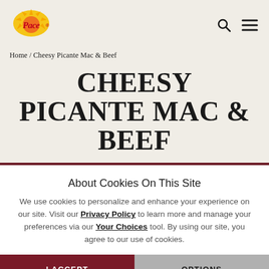Pace logo, search icon, menu icon
Home / Cheesy Picante Mac & Beef
CHEESY PICANTE MAC & BEEF
About Cookies On This Site
We use cookies to personalize and enhance your experience on our site. Visit our Privacy Policy to learn more and manage your preferences via our Your Choices tool. By using our site, you agree to our use of cookies.
I ACCEPT | OPTIONS